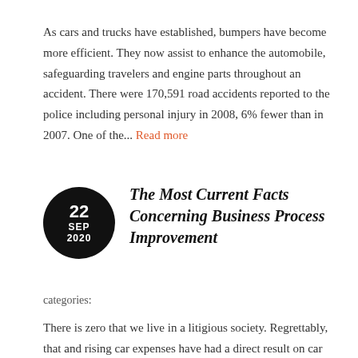As cars and trucks have established, bumpers have become more efficient. They now assist to enhance the automobile, safeguarding travelers and engine parts throughout an accident. There were 170,591 road accidents reported to the police including personal injury in 2008, 6% fewer than in 2007. One of the... Read more
[Figure (other): Black circle with date: 22 SEP 2020]
The Most Current Facts Concerning Business Process Improvement
categories:
There is zero that we live in a litigious society. Regrettably, that and rising car expenses have had a direct result on car insurance coverage rates. Consumers have to get imaginative and discover methods to...